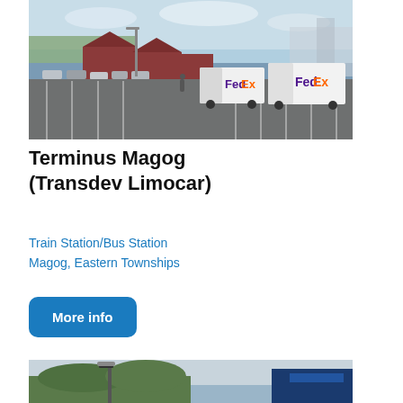[Figure (photo): Parking lot scene with two white FedEx delivery trucks parked in a lot in front of red commercial buildings. Multiple cars parked in background. Street lamp visible.]
Terminus Magog (Transdev Limocar)
Train Station/Bus Station
Magog, Eastern Townships
More info
[Figure (photo): Outdoor scene with trees, street lamp, overcast sky, and partial view of a blue building on the right side.]